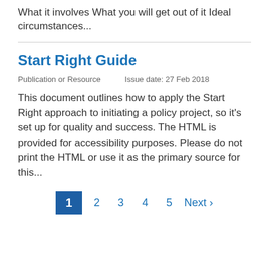What it involves What you will get out of it Ideal circumstances...
Start Right Guide
Publication or Resource    Issue date: 27 Feb 2018
This document outlines how to apply the Start Right approach to initiating a policy project, so it's set up for quality and success. The HTML is provided for accessibility purposes. Please do not print the HTML or use it as the primary source for this...
1 2 3 4 5 Next >